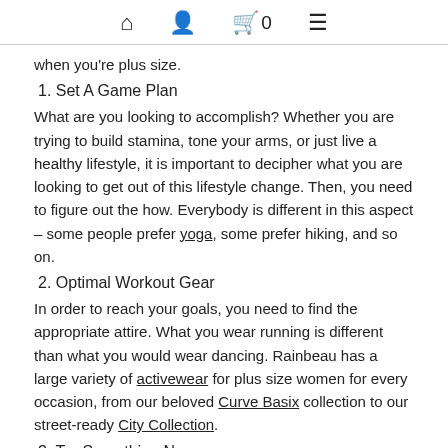🏠 👤 🛒0 ☰
when you're plus size.
1. Set A Game Plan
What are you looking to accomplish? Whether you are trying to build stamina, tone your arms, or just live a healthy lifestyle, it is important to decipher what you are looking to get out of this lifestyle change. Then, you need to figure out the how. Everybody is different in this aspect – some people prefer yoga, some prefer hiking, and so on.
2. Optimal Workout Gear
In order to reach your goals, you need to find the appropriate attire. What you wear running is different than what you would wear dancing. Rainbeau has a large variety of activewear for plus size women for every occasion, from our beloved Curve Basix collection to our street-ready City Collection.
3. Try Something New
Experimenting with different forms of exercise is always beneficial because you might find a new passion. One of the easiest ways to